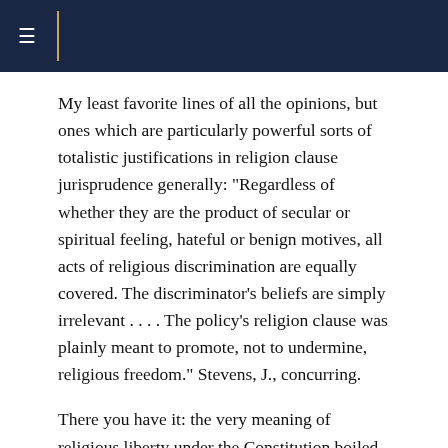≡
My least favorite lines of all the opinions, but ones which are particularly powerful sorts of totalistic justifications in religion clause jurisprudence generally: "Regardless of whether they are the product of secular or spiritual feeling, hateful or benign motives, all acts of religious discrimination are equally covered. The discriminator's beliefs are simply irrelevant . . . . The policy's religion clause was plainly meant to promote, not to undermine, religious freedom." Stevens, J., concurring.
There you have it: the very meaning of religious liberty under the Constitution boiled down with one fell swoop to the single value of facial, formal neutrality -- a value which has no time